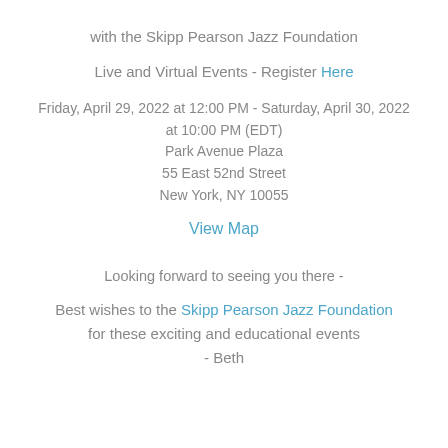with the Skipp Pearson Jazz Foundation
Live and Virtual Events - Register Here
Friday, April 29, 2022 at 12:00 PM - Saturday, April 30, 2022 at 10:00 PM (EDT)
Park Avenue Plaza
55 East 52nd Street
New York, NY 10055
View Map
Looking forward to seeing you there -
Best wishes to the Skipp Pearson Jazz Foundation for these exciting and educational events - Beth